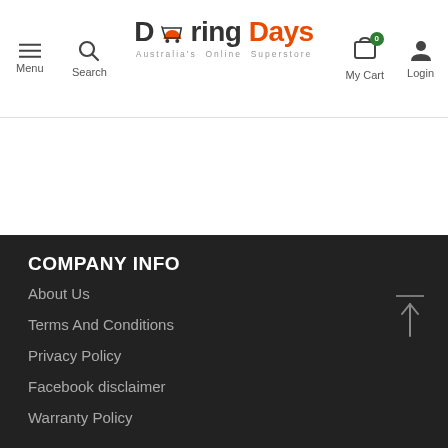[Figure (logo): Doring Days logo with shopping cart icon, subtitle 'Australia's Online Superstore']
Menu | Search | My Cart | Login
COMPANY INFO
About Us
Terms And Conditions
Privacy Policy
Facebook disclaimer
Warranty Policy